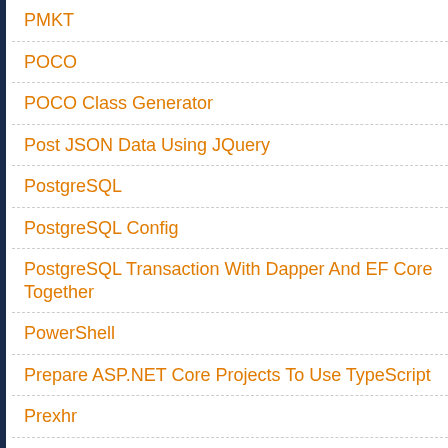PMKT
POCO
POCO Class Generator
Post JSON Data Using JQuery
PostgreSQL
PostgreSQL Config
PostgreSQL Transaction With Dapper And EF Core Together
PowerShell
Prepare ASP.NET Core Projects To Use TypeScript
Prexhr
Primary Keys
Problem With Language Date Time Number Format
Profiling
Programmatically Open Multiple Files In Visual Studio
ProgressBar